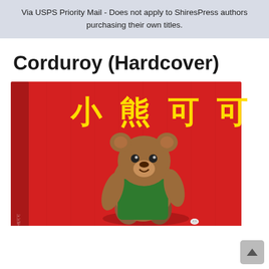Via USPS Priority Mail - Does not apply to ShiresPress authors purchasing their own titles.
Corduroy (Hardcover)
[Figure (photo): Book cover of Corduroy in Chinese (小熊可可) - a red hardcover book showing a teddy bear wearing green overalls, with yellow Chinese characters on the cover.]